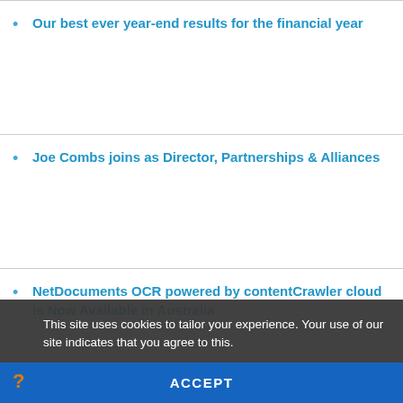Our best ever year-end results for the financial year
Joe Combs joins as Director, Partnerships & Alliances
NetDocuments OCR powered by contentCrawler cloud is Now Available in Australia
New versions of cleanDocs desktop and server now available
Top Ranked Norwegian firm Kvale is the latest in EMEA to buy the full desktop Productivity Suite
This site uses cookies to tailor your experience. Your use of our site indicates that you agree to this.